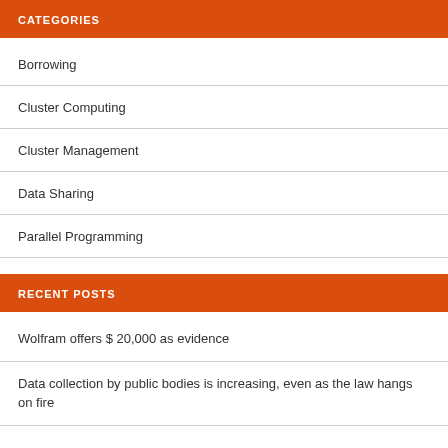CATEGORIES
Borrowing
Cluster Computing
Cluster Management
Data Sharing
Parallel Programming
RECENT POSTS
Wolfram offers $ 20,000 as evidence
Data collection by public bodies is increasing, even as the law hangs on fire